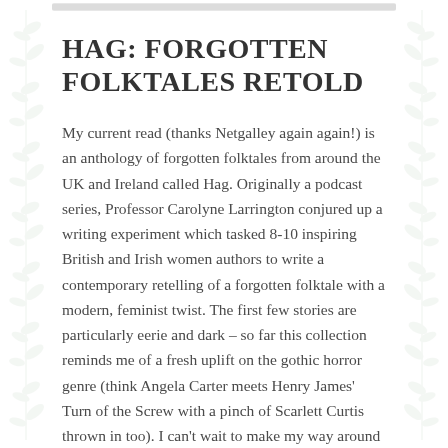HAG: FORGOTTEN FOLKTALES RETOLD
My current read (thanks Netgalley again again!) is an anthology of forgotten folktales from around the UK and Ireland called Hag. Originally a podcast series, Professor Carolyne Larrington conjured up a writing experiment which tasked 8-10 inspiring British and Irish women authors to write a contemporary retelling of a forgotten folktale with a modern, feminist twist. The first few stories are particularly eerie and dark – so far this collection reminds me of a fresh uplift on the gothic horror genre (think Angela Carter meets Henry James' Turn of the Screw with a pinch of Scarlett Curtis thrown in too). I can't wait to make my way around all of the